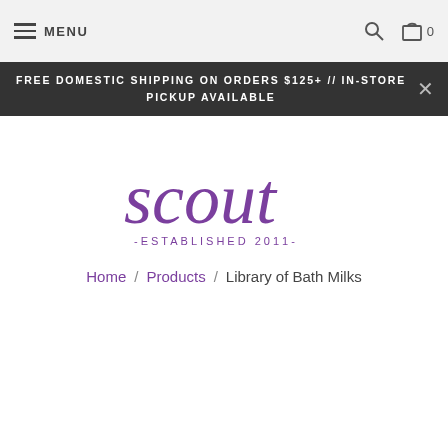≡ MENU  🔍  🛒 0
FREE DOMESTIC SHIPPING ON ORDERS $125+ // IN-STORE PICKUP AVAILABLE
[Figure (logo): Scout - Established 2011 - logo in purple cursive script]
Home / Products / Library of Bath Milks